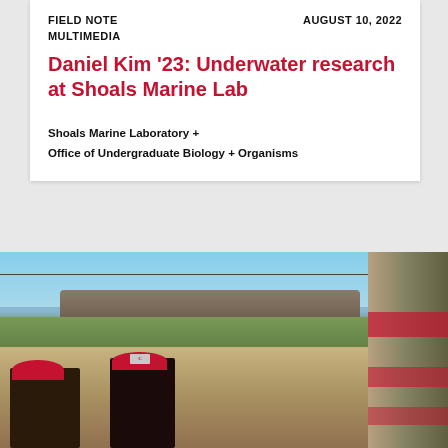FIELD NOTE    AUGUST 10, 2022
MULTIMEDIA
Daniel Kim '23: Underwater research at Shoals Marine Lab
Shoals Marine Laboratory  +
Office of Undergraduate Biology  +  Organisms
[Figure (photo): Outdoor photo showing two people wearing red Cornell caps standing in a grassy/rocky outdoor area near a wooden structure, with blue sky visible overhead]